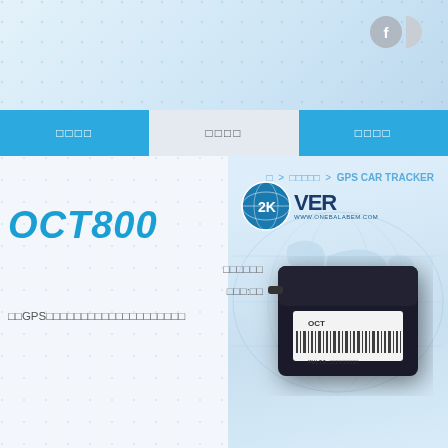Website header with navigation
□□□□ □□□□ □□□□
□□ > □□□□□ > GPS CAR TRACKER
OCT800
□□□□□□
□□□: □□
□□GPS□□□□□□□□□□□□□□□□□□□□
[Figure (photo): GPS car tracker device product photo - small black rectangular device with barcode label, shown in product panel with 2KOVER logo]